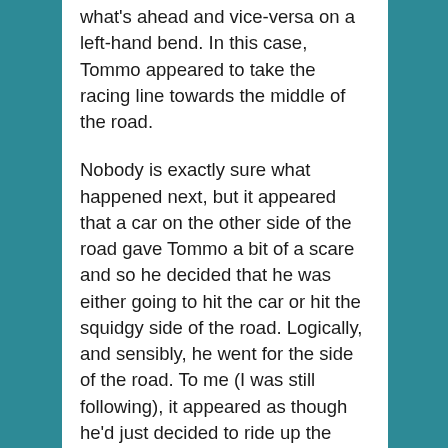what's ahead and vice-versa on a left-hand bend. In this case, Tommo appeared to take the racing line towards the middle of the road.
Nobody is exactly sure what happened next, but it appeared that a car on the other side of the road gave Tommo a bit of a scare and so he decided that he was either going to hit the car or hit the squidgy side of the road. Logically, and sensibly, he went for the side of the road. To me (I was still following), it appeared as though he'd just decided to ride up the grass instead of the road. As I thought to myself 'what the hell is he doing', his bike fell over to the left, Tommo appeared to attempt to jump clear, and he did an amazing gymnastic display as I went past and